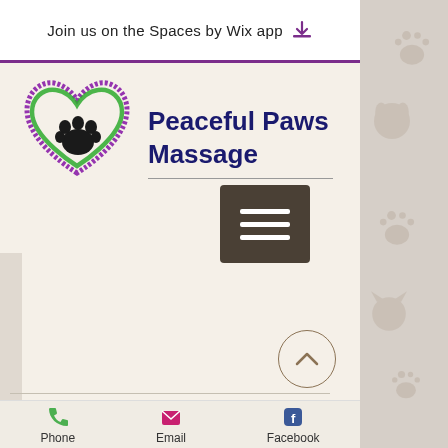Join us on the Spaces by Wix app
[Figure (logo): Peaceful Paws Massage logo with heart shape in purple and green with paw print]
Peaceful Paws Massage
[Figure (other): Hamburger menu button (three horizontal lines on dark brown background)]
[Figure (other): Scroll to top button (circle with upward chevron)]
[Figure (other): Social media icons: Facebook (blue), Twitter (light blue), Google+ (red)]
Phone   Email   Facebook